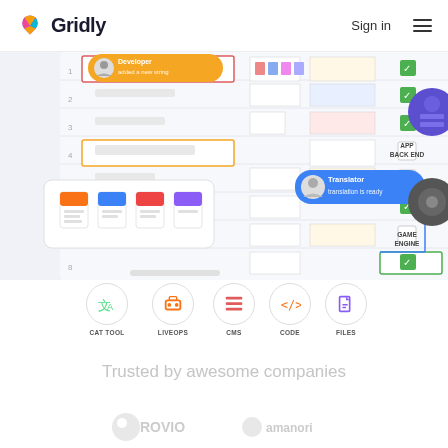Gridly | Sign in
[Figure (screenshot): Gridly app interface screenshot showing a spreadsheet-like grid with developer and translator notifications, file type icons, and integration connectors to APP BACK END and GAME ENGINE on the right side]
CAT TOOL   LIVEOPS   CMS   CODE   FILES
Trusted by awesome companies
[Figure (logo): Company logos: Rovio, Amanori (partial)]